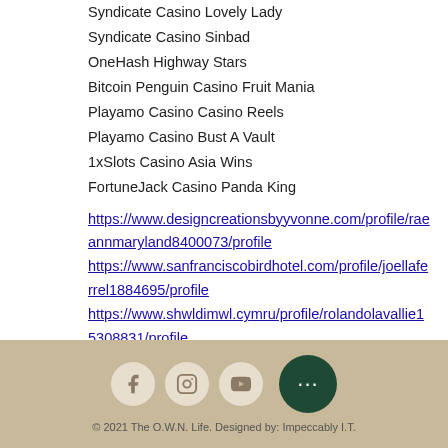Syndicate Casino Lovely Lady
Syndicate Casino Sinbad
OneHash Highway Stars
Bitcoin Penguin Casino Fruit Mania
Playamo Casino Casino Reels
Playamo Casino Bust A Vault
1xSlots Casino Asia Wins
FortuneJack Casino Panda King
https://www.designcreationsbyyvonne.com/profile/raeannmaryland8400073/profile https://www.sanfranciscobirdhotel.com/profile/joellaferrel1884695/profile https://www.shwldimwl.cymru/profile/rolandolavallie15308831/profile https://www.elmundodelacocinadesonya.com/profile/hermananselmo5373026/profile
© 2021 The O.W.N. Life. Designed by: Impeccably I.T.